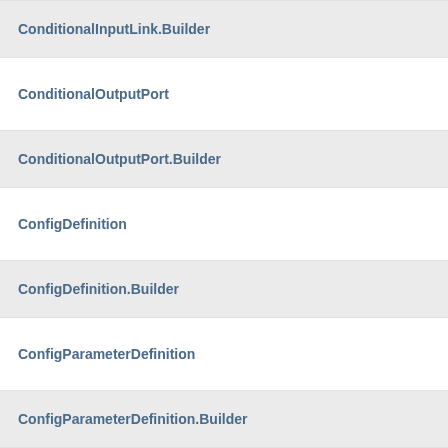ConditionalInputLink.Builder
ConditionalOutputPort
ConditionalOutputPort.Builder
ConfigDefinition
ConfigDefinition.Builder
ConfigParameterDefinition
ConfigParameterDefinition.Builder
ConfigParameterValue
ConfigParameterValue.Builder
ConfigProvider